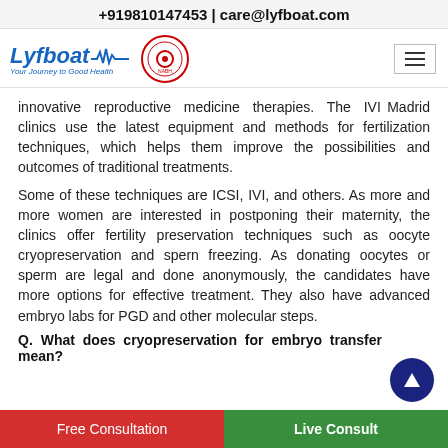+919810147453 | care@lyfboat.com
[Figure (logo): Lyfboat logo with tagline 'Your Journey to Good Health' and a red circular badge, plus hamburger menu icon]
innovative reproductive medicine therapies. The IVI Madrid clinics use the latest equipment and methods for fertilization techniques, which helps them improve the possibilities and outcomes of traditional treatments.
Some of these techniques are ICSI, IVI, and others. As more and more women are interested in postponing their maternity, the clinics offer fertility preservation techniques such as oocyte cryopreservation and spern freezing. As donating oocytes or sperm are legal and done anonymously, the candidates have more options for effective treatment. They also have advanced embryo labs for PGD and other molecular steps.
Q. What does cryopreservation for embryo transfer mean?
Free Consultation
Live Consult